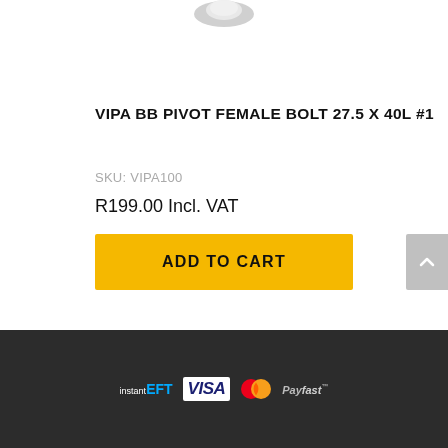[Figure (photo): Partial product image of a bolt, cropped at the top edge of the page]
VIPA BB PIVOT FEMALE BOLT 27.5 X 40L #1
SKU: VIPA100
R199.00 Incl. VAT
ADD TO CART
[Figure (logo): Payment logos: instantEFT, VISA, Mastercard, PayFast]